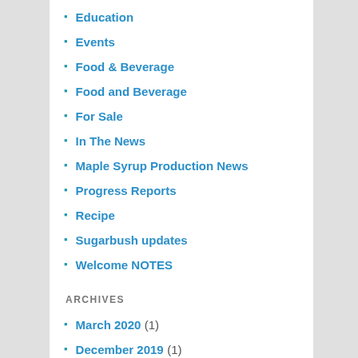Education
Events
Food & Beverage
Food and Beverage
For Sale
In The News
Maple Syrup Production News
Progress Reports
Recipe
Sugarbush updates
Welcome NOTES
ARCHIVES
March 2020 (1)
December 2019 (1)
November 2019 (1)
September 2019 (1)
June 2019 (1)
May 2019 (1)
April 2019 (1)
March 2019 (1)